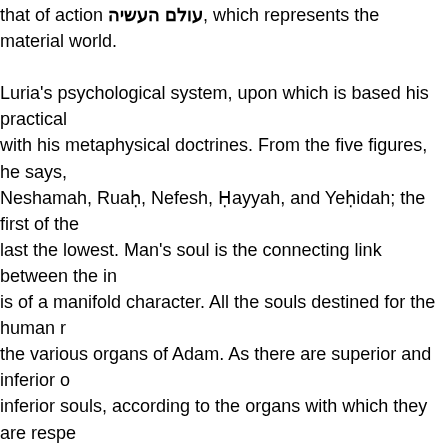that of action עולם העשיה, which represents the material world.

Luria's psychological system, upon which is based his practical with his metaphysical doctrines. From the five figures, he says, Neshamah, Ruaḥ, Nefesh, Ḥayyah, and Yeḥidah; the first of the last the lowest. Man's soul is the connecting link between the in is of a manifold character. All the souls destined for the human the various organs of Adam. As there are superior and inferior o inferior souls, according to the organs with which they are respe souls of the brain, souls of the eye, souls of the hand, etc. Each from Adam. The first sin of the first man caused confusion amor the superior intermingled with the inferior; good with evil; so tha an admixture of evil, or, as Luria calls it, of the element of the "s lowest classes of souls proceeded the pagan world, while from Israelitish world. But, in consequence of the confusion, the form original good, and the latter are not altogether free from sin. Thi a continual impulse toward evil, will cease with the arrival of the